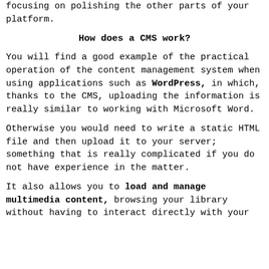focusing on polishing the other parts of your platform.
How does a CMS work?
You will find a good example of the practical operation of the content management system when using applications such as WordPress, in which, thanks to the CMS, uploading the information is really similar to working with Microsoft Word.
Otherwise you would need to write a static HTML file and then upload it to your server; something that is really complicated if you do not have experience in the matter.
It also allows you to load and manage multimedia content, browsing your library without having to interact directly with your